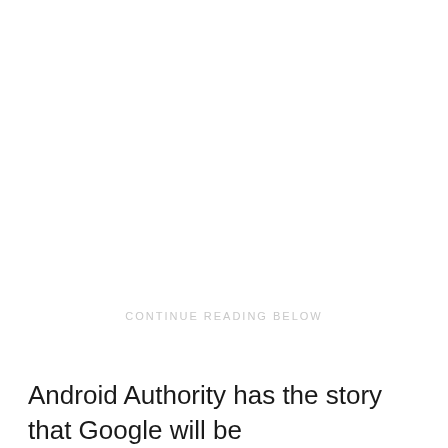CONTINUE READING BELOW
Android Authority has the story that Google will be